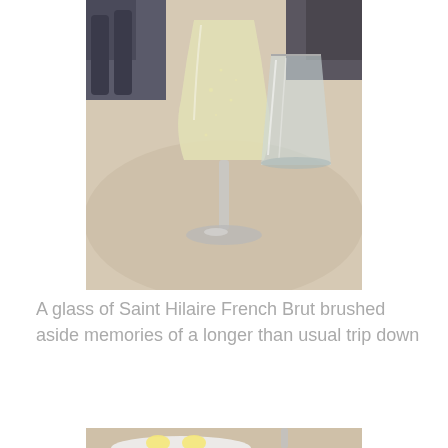[Figure (photo): A champagne flute filled with pale golden sparkling wine (Saint Hilaire French Brut) on a light beige tablecloth, with an empty short tumbler glass beside it and a dark wooden chair visible in the background.]
A glass of Saint Hilaire French Brut brushed aside memories of a longer than usual trip down
[Figure (photo): A small white plate with two small round butter portions on a light beige tablecloth, with the stem of a champagne flute and another glass visible to the right, and a spoon at the far right.]